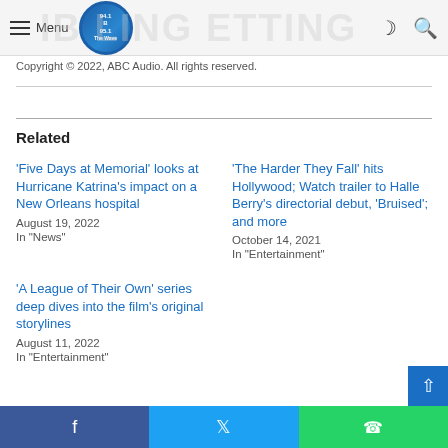Menu | 94.1 B 95.1 The Wave
Copyright © 2022, ABC Audio. All rights reserved.
Related
'Five Days at Memorial' looks at Hurricane Katrina's impact on a New Orleans hospital
August 19, 2022
In "News"
'The Harder They Fall' hits Hollywood; Watch trailer to Halle Berry's directorial debut, 'Bruised'; and more
October 14, 2021
In "Entertainment"
'A League of Their Own' series deep dives into the film's original storylines
August 11, 2022
In "Entertainment"